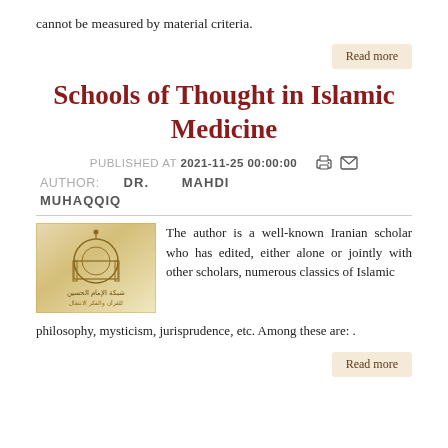cannot be measured by material criteria.
Read more
Schools of Thought in Islamic Medicine
PUBLISHED AT 2021-11-25 00:00:00
AUTHOR: DR. MAHDI MUHAQQIQ
[Figure (logo): Logo with Arabic calligraphy on a golden/beige background]
The author is a well-known Iranian scholar who has edited, either alone or jointly with other scholars, numerous classics of Islamic philosophy, mysticism, jurisprudence, etc. Among these are: .
Read more